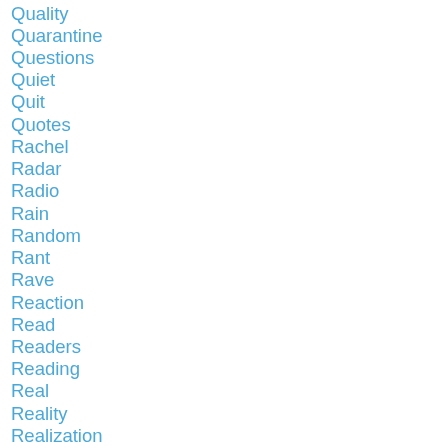Quality
Quarantine
Questions
Quiet
Quit
Quotes
Rachel
Radar
Radio
Rain
Random
Rant
Rave
Reaction
Read
Readers
Reading
Real
Reality
Realization
Realize